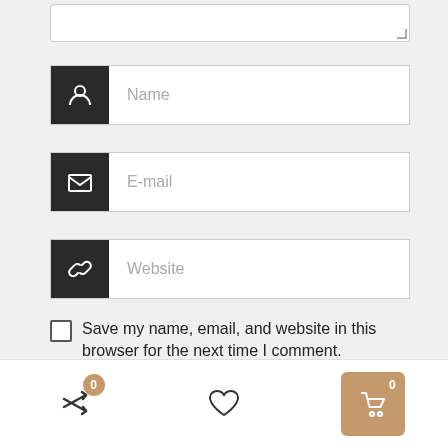[Figure (screenshot): Web form with Name, Email, and Website input fields, each with a dark icon on the left. Below is a checkbox labeled 'Save my name, email, and website in this browser for the next time I comment.' followed by a Submit button and a back-to-top arrow button.]
Save my name, email, and website in this browser for the next time I comment.
[Figure (screenshot): Website bottom navigation bar with a compare icon (badge 0), a heart/wishlist icon, and a shopping cart button (badge 0) in tan/brown color.]